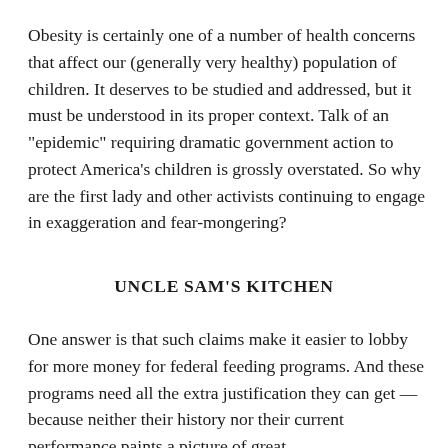Obesity is certainly one of a number of health concerns that affect our (generally very healthy) population of children. It deserves to be studied and addressed, but it must be understood in its proper context. Talk of an "epidemic" requiring dramatic government action to protect America's children is grossly overstated. So why are the first lady and other activists continuing to engage in exaggeration and fear-mongering?
UNCLE SAM'S KITCHEN
One answer is that such claims make it easier to lobby for more money for federal feeding programs. And these programs need all the extra justification they can get — because neither their history nor their current performance paints a picture of great